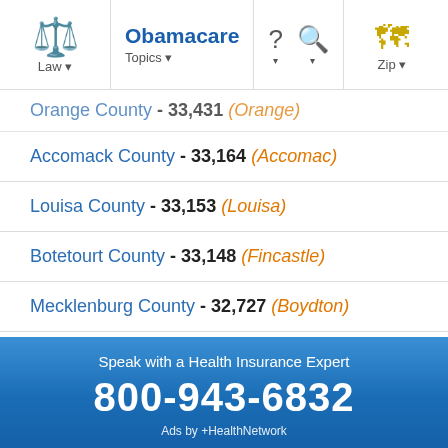Obamacare | Law | Topics | Zip
Orange County - 33,431 (Orange)
Accomack County - 33,164 (Accomac)
Louisa County - 33,153 (Louisa)
Botetourt County - 33,148 (Fincastle)
Mecklenburg County - 32,727 (Boydton)
Petersburg city - 32,420 (Petersburg)
Amherst County - 32,353 (Amherst)
Speak with a Health Insurance Expert
800-943-6832
Ads by +HealthNetwork